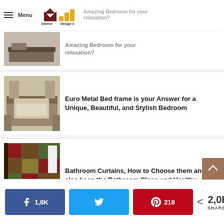Menu | Interior Design 4 | better living, better Designing
Amazing Bedroom for your relaxation?
Euro Metal Bed frame is your Answer for a Unique, Beautiful, and Stylish Bedroom
Bathroom Curtains, How to Choose them and also keep the Bathroom Clean and Healthy
1,8K shares on Facebook | Tweet | 218 Pinterest | 2,0K SHARES